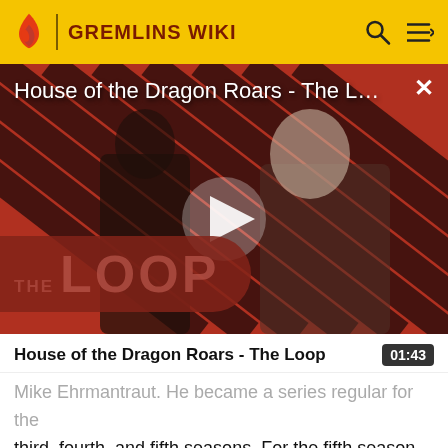GREMLINS WIKI
[Figure (screenshot): Video thumbnail for 'House of the Dragon Roars - The Loop' showing two characters from House of the Dragon against a red diagonal stripe background with 'THE LOOP' text overlay and a play button]
House of the Dragon Roars - The Loop
Mike Ehrmantraut. He became a series regular for the third, fourth, and fifth seasons. For the fifth season, he received a Primetime Emmy Award nomination for Outstanding Supporting Actor in a Drama Series. He also